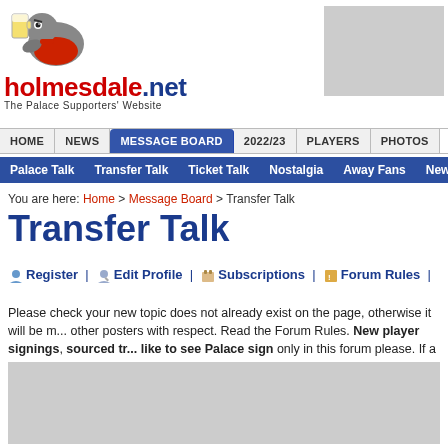[Figure (logo): Holmesdale.net logo with cartoon eagle/vulture mascot holding a pint glass, red cape. Text reads 'holmesdale.net' and 'The Palace Supporters' Website']
[Figure (other): Advertisement placeholder (grey rectangle)]
HOME | NEWS | MESSAGE BOARD | 2022/23 | PLAYERS | PHOTOS
Palace Talk | Transfer Talk | Ticket Talk | Nostalgia | Away Fans | News/Politics
You are here: Home > Message Board > Transfer Talk
Transfer Talk
Register | Edit Profile | Subscriptions | Forum Rules |
Please check your new topic does not already exist on the page, otherwise it will be m... other posters with respect. Read the Forum Rules. New player signings, sourced tr... like to see Palace sign only in this forum please. If a transfer target signs, the thread...
[Figure (other): Advertisement placeholder (grey rectangle)]